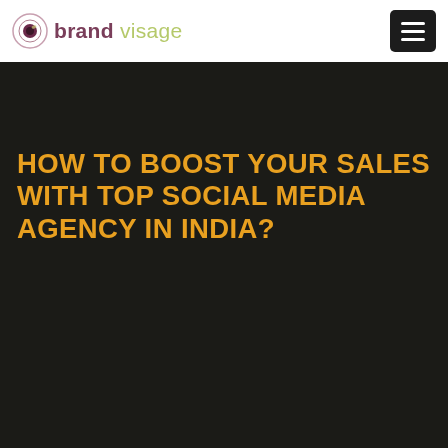[Figure (logo): Brand Visage logo with circular eye icon and text 'brand visage' in two colors]
HOW TO BOOST YOUR SALES WITH TOP SOCIAL MEDIA AGENCY IN INDIA?